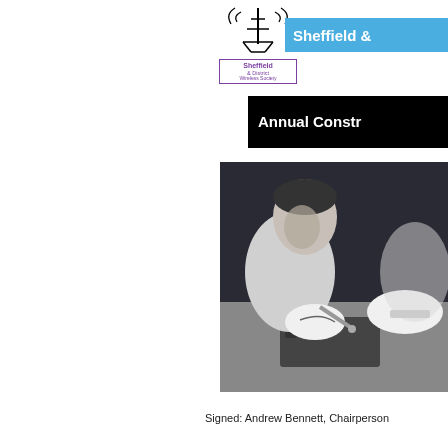[Figure (logo): Sheffield & District Wireless Society logo with antenna tower graphic]
Sheffield &
Annual Constr
[Figure (illustration): Stylized illustration of a person soldering or working on electronics at a workbench]
Signed: Andrew Bennett, Chairperson